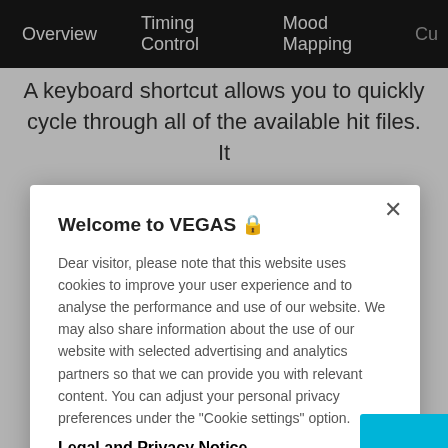Overview   Timing Control   Mood Mapping   Cu...
A keyboard shortcut allows you to quickly cycle through all of the available hit files. It
Welcome to VEGAS 🔒
Dear visitor, please note that this website uses cookies to improve your user experience and to analyse the performance and use of our website. We may also share information about the use of our website with selected advertising and analytics partners so that we can provide you with relevant content. You can adjust your personal privacy preferences under the "Cookie settings" option.
Legal and Privacy Notice
Cookies Settings
OK